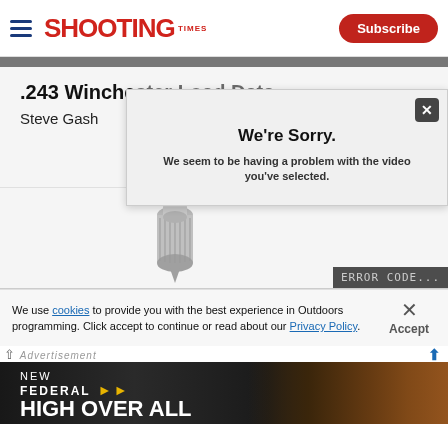Shooting Times — Subscribe
.243 Winchester Load Data
Steve Gash
We're Sorry.
We seem to be having a problem with the video you've selected.
[Figure (photo): Metal knob/screw product image with error code bar overlay showing 'ERROR CODE...']
We use cookies to provide you with the best experience in Outdoors programming. Click accept to continue or read about our Privacy Policy.
Advertisement
[Figure (photo): Federal High Overall ammunition advertisement banner — dark background with ammunition imagery, text reads NEW FEDERAL HIGH OVER ALL]